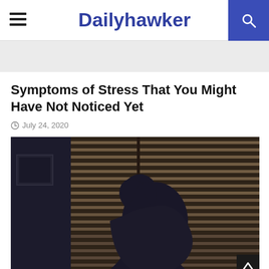Dailyhawker
Symptoms of Stress That You Might Have Not Noticed Yet
July 24, 2020
[Figure (photo): Person sitting hunched over with head in hands in a dimly lit room with window blinds in the background, silhouetted in a dark blue-toned photograph suggesting stress or depression.]